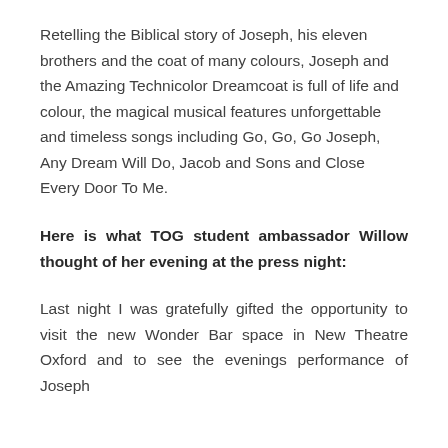Retelling the Biblical story of Joseph, his eleven brothers and the coat of many colours, Joseph and the Amazing Technicolor Dreamcoat is full of life and colour, the magical musical features unforgettable and timeless songs including Go, Go, Go Joseph, Any Dream Will Do, Jacob and Sons and Close Every Door To Me.
Here is what TOG student ambassador Willow thought of her evening at the press night:
Last night I was gratefully gifted the opportunity to visit the new Wonder Bar space in New Theatre Oxford and to see the evenings performance of Joseph